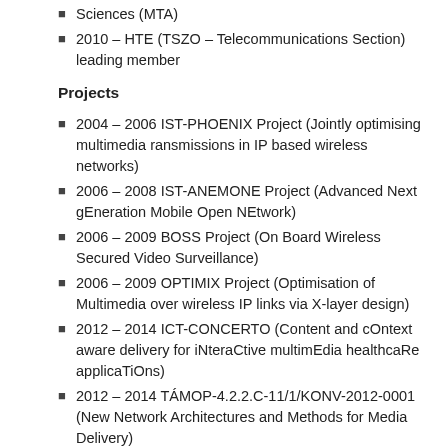Sciences (MTA)
2010 – HTE (TSZO – Telecommunications Section) leading member
Projects
2004 – 2006 IST-PHOENIX Project (Jointly optimising multimedia ransmissions in IP based wireless networks)
2006 – 2008 IST-ANEMONE Project (Advanced Next gEneration Mobile Open NEtwork)
2006 – 2009 BOSS Project (On Board Wireless Secured Video Surveillance)
2006 – 2009 OPTIMIX Project (Optimisation of Multimedia over wireless IP links via X-layer design)
2012  – 2014 ICT-CONCERTO (Content and cOntext aware delivery for iNteraCtive multimEdia healthcaRe applicaTiOns)
2012 – 2014 TÁMOP-4.2.2.C-11/1/KONV-2012-0001 (New Network Architectures and Methods for Media Delivery)
Military service
2003 – 2004 Hungarian Army, Communications Command, Nagytarcsa